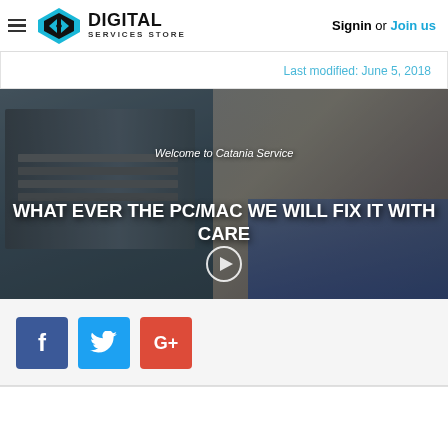Digital Services Store — Signin or Join us
Last modified: June 5, 2018
[Figure (photo): Hero banner showing a technician smiling while working on PC hardware, with text overlay: 'Welcome to Catania Service' and headline 'WHAT EVER THE PC/MAC WE WILL FIX IT WITH CARE', plus a circular play button.]
Facebook, Twitter, Google+ social share buttons